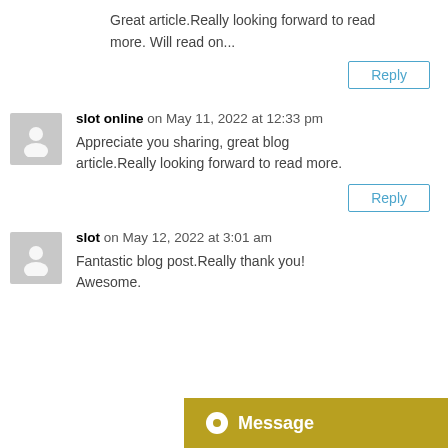Great article.Really looking forward to read more. Will read on...
Reply
slot online on May 11, 2022 at 12:33 pm
Appreciate you sharing, great blog article.Really looking forward to read more.
Reply
slot on May 12, 2022 at 3:01 am
Fantastic blog post.Really thank you! Awesome.
[Figure (other): Message button with chat icon]